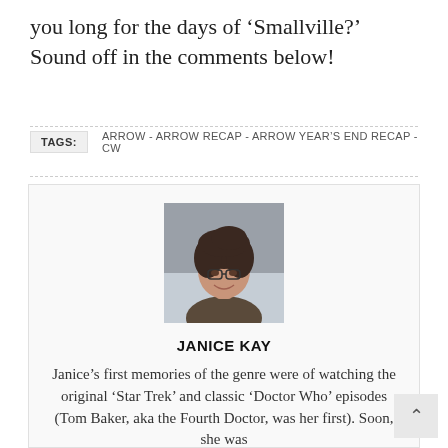you long for the days of ‘Smallville?’ Sound off in the comments below!
TAGS: ARROW - ARROW RECAP - ARROW YEAR’S END RECAP - CW
[Figure (photo): Headshot photo of Janice Kay, a woman with short dark hair and glasses, smiling]
JANICE KAY
Janice’s first memories of the genre were of watching the original ‘Star Trek’ and classic ‘Doctor Who’ episodes (Tom Baker, aka the Fourth Doctor, was her first). Soon, she was